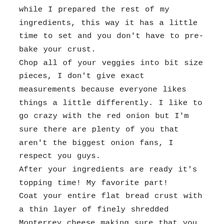while I prepared the rest of my ingredients, this way it has a little time to set and you don't have to pre-bake your crust. Chop all of your veggies into bit size pieces, I don't give exact measurements because everyone likes things a little differently. I like to go crazy with the red onion but I'm sure there are plenty of you that aren't the biggest onion fans, I respect you guys. After your ingredients are ready it's topping time! My favorite part! Coat your entire flat bread crust with a thin layer of finely shredded Monterrey cheese making sure that you cover all the way out to the very edge. Unless you really like a lot of crust I suggest you cover that baby good because you know the villagers said. The special ly